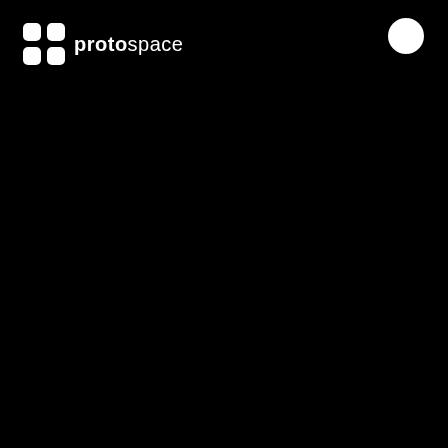[Figure (logo): Protospace logo: white icon with four rounded squares arranged in a 2x2 grid with a star/cross in the center, followed by the text 'proto' in bold white and 'space' in regular white, on a black background]
[Figure (illustration): White filled circle in the upper right area of the black background]
[Figure (illustration): White crescent moon icon on the left side of the black background]